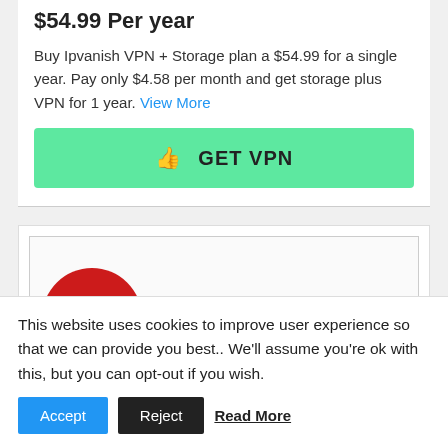$54.99 Per year
Buy Ipvanish VPN + Storage plan a $54.99 for a single year. Pay only $4.58 per month and get storage plus VPN for 1 year. View More
👍 GET VPN
[Figure (logo): ExpressVPN logo: red circle with stylized EV monogram in white, followed by 'ExpressVPN' in red text]
This website uses cookies to improve user experience so that we can provide you best.. We'll assume you're ok with this, but you can opt-out if you wish. Accept Reject Read More